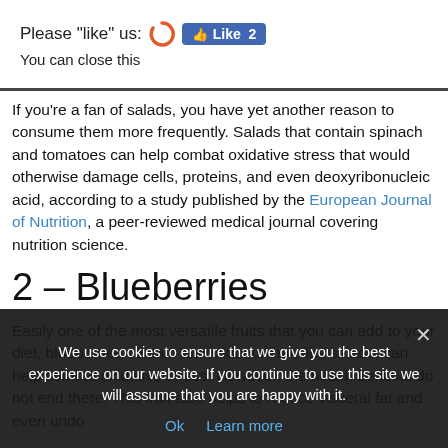Please "like" us: [Like 2 button] You can close this
If you're a fan of salads, you have yet another reason to consume them more frequently. Salads that contain spinach and tomatoes can help combat oxidative stress that would otherwise damage cells, proteins, and even deoxyribonucleic acid, according to a study published by the European Journal of Nutrition, a peer-reviewed medical journal covering nutrition science.
2 – Blueberries
Easily one of the most versatile fruits that you can add to your diet, blueberries contain antioxidants that, like salads, can help combat oxidative stress. However, the health benefits do not end there. This fruit also helps to reduce visceral fat and even undo
We use cookies to ensure that we give you the best experience on our website. If you continue to use this site we will assume that you are happy with it.
Ok    Learn more